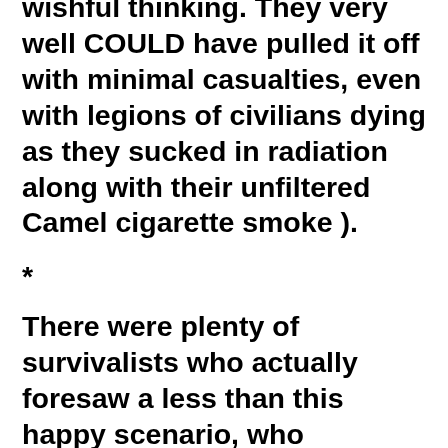wishful thinking. They very well COULD have pulled it off with minimal casualties, even with legions of civilians dying as they sucked in radiation along with their unfiltered Camel cigarette smoke ).
*
There were plenty of survivalists who actually foresaw a less than this happy scenario, who emerged in the '70's. But the subconscious meme seems to have succeeded in burrowing into almost everyone's brain. The fallout shelter norm was a few weeks to a couple of months, so when a years supply of food was urged, that WAS paranoid for the